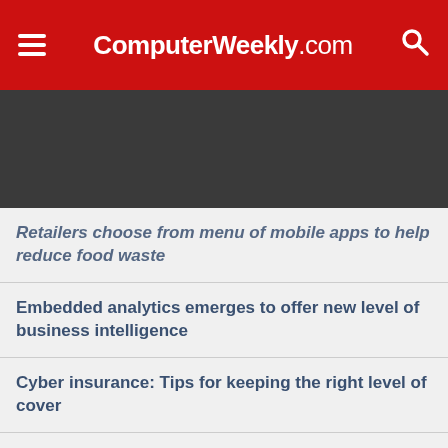ComputerWeekly.com
Retailers choose from menu of mobile apps to help reduce food waste
Embedded analytics emerges to offer new level of business intelligence
Cyber insurance: Tips for keeping the right level of cover
Pandemic turns e-commerce doubters into believers
Accountability in algorithmic injustice
Olympique de Marseille scores with Orange